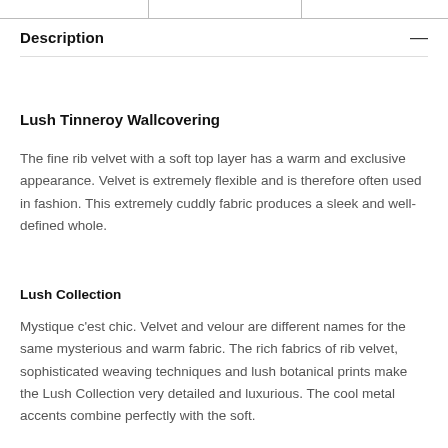Description
Lush Tinneroy Wallcovering
The fine rib velvet with a soft top layer has a warm and exclusive appearance. Velvet is extremely flexible and is therefore often used in fashion. This extremely cuddly fabric produces a sleek and well-defined whole.
Lush Collection
Mystique c'est chic. Velvet and velour are different names for the same mysterious and warm fabric. The rich fabrics of rib velvet, sophisticated weaving techniques and lush botanical prints make the Lush Collection very detailed and luxurious. The cool metal accents combine perfectly with the soft.